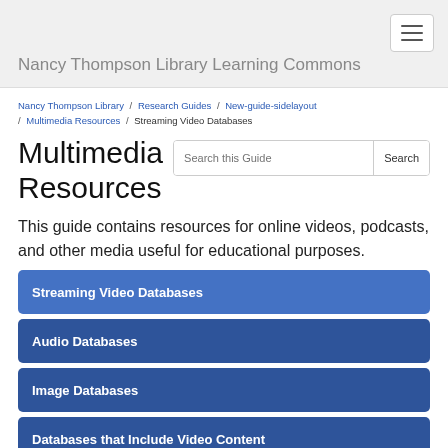Nancy Thompson Library Learning Commons
Nancy Thompson Library / Research Guides / New-guide-sidelayout / Multimedia Resources / Streaming Video Databases
Multimedia Resources
This guide contains resources for online videos, podcasts, and other media useful for educational purposes.
Streaming Video Databases
Audio Databases
Image Databases
Databases that Include Video Content